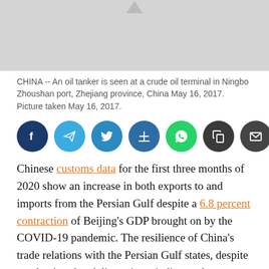[Figure (photo): Gray placeholder image area representing a photo of an oil tanker at a crude oil terminal in Ningbo Zhoushan port]
CHINA -- An oil tanker is seen at a crude oil terminal in Ningbo Zhoushan port, Zhejiang province, China May 16, 2017. Picture taken May 16, 2017.
[Figure (other): Social sharing icons row: Facebook, Telegram, Twitter, Plus/Save, WhatsApp, Copy, Email]
Chinese customs data for the first three months of 2020 show an increase in both exports to and imports from the Persian Gulf despite a 6.8 percent contraction of Beijing's GDP brought on by the COVID-19 pandemic. The resilience of China's trade relations with the Persian Gulf states, despite pandemic-related disruptions, indicates the potential for Beijing to further enhance its influence